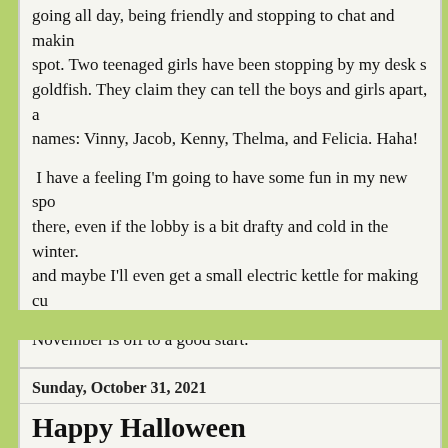going all day, being friendly and stopping to chat and making my spot. Two teenaged girls have been stopping by my desk seeing the goldfish. They claim they can tell the boys and girls apart, and given them names: Vinny, Jacob, Kenny, Thelma, and Felicia. Haha!
I have a feeling I'm going to have some fun in my new spot over there, even if the lobby is a bit drafty and cold in the winter. and maybe I'll even get a small electric kettle for making cu...
November is off to a good start.
Posted by Jennifer at 6:26 PM   25 comments:   Labels: coworkers, Little P., work life
Sunday, October 31, 2021
Happy Halloween